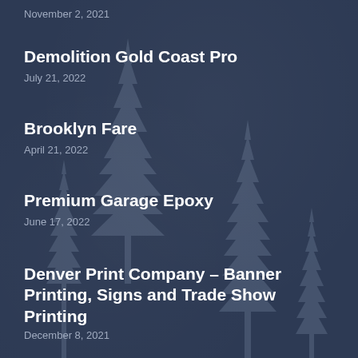November 2, 2021
Demolition Gold Coast Pro
July 21, 2022
Brooklyn Fare
April 21, 2022
Premium Garage Epoxy
June 17, 2022
Denver Print Company – Banner Printing, Signs and Trade Show Printing
December 8, 2021